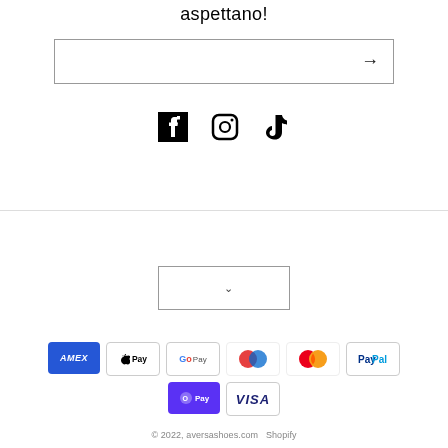aspettano!
[Figure (other): Email subscription input box with arrow/submit button]
[Figure (other): Social media icons: Facebook, Instagram, TikTok]
[Figure (other): Language selector dropdown box with chevron]
[Figure (other): Payment method icons: American Express, Apple Pay, Google Pay, Maestro, Mastercard, PayPal, Shop Pay, Visa]
© 2022, aversashoes.com  Shopify